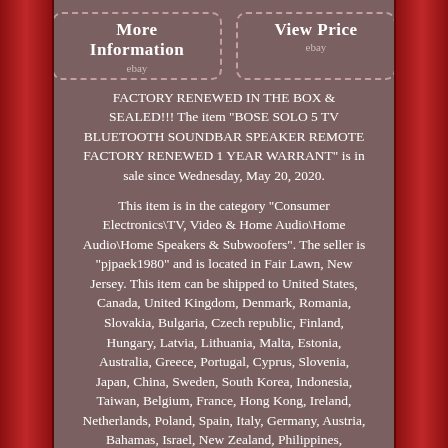[Figure (other): Two dashed-border button boxes side by side: 'More Information / ebay' and 'View Price / ebay']
FACTORY RENEWED IN THE BOX & SEALED!!! The item "BOSE SOLO 5 TV BLUETOOTH SOUNDBAR SPEAKER REMOTE FACTORY RENEWED 1 YEAR WARRANT" is in sale since Wednesday, May 20, 2020.
This item is in the category "Consumer Electronics\TV, Video & Home Audio\Home Audio\Home Speakers & Subwoofers". The seller is "pjpaek1980" and is located in Fair Lawn, New Jersey. This item can be shipped to United States, Canada, United Kingdom, Denmark, Romania, Slovakia, Bulgaria, Czech republic, Finland, Hungary, Latvia, Lithuania, Malta, Estonia, Australia, Greece, Portugal, Cyprus, Slovenia, Japan, China, Sweden, South Korea, Indonesia, Taiwan, Belgium, France, Hong Kong, Ireland, Netherlands, Poland, Spain, Italy, Germany, Austria, Bahamas, Israel, New Zealand, Philippines,